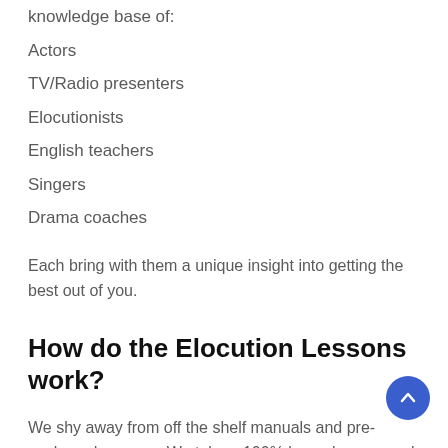knowledge base of:
Actors
TV/Radio presenters
Elocutionists
English teachers
Singers
Drama coaches
Each bring with them a unique insight into getting the best out of you.
How do the Elocution Lessons work?
We shy away from off the shelf manuals and pre-packaged courses. We take a 100% bespoke approach to everything we do and elocution lessons are no different. We take each client as they come – addressing their particular needs. As such, each client is seen to individually and a short course